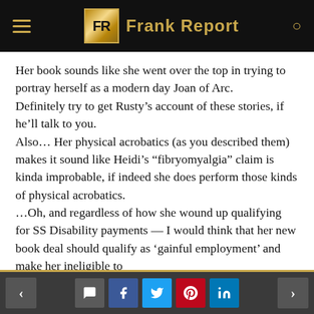FR Frank Report
Her book sounds like she went over the top in trying to portray herself as a modern day Joan of Arc.
Definitely try to get Rusty’s account of these stories, if he’ll talk to you.
Also… Her physical acrobatics (as you described them) makes it sound like Heidi’s “fibryomyalgia” claim is kinda improbable, if indeed she does perform those kinds of physical acrobatics.
…Oh, and regardless of how she wound up qualifying for SS Disability payments — I would think that her new book deal should qualify as ‘gainful employment’ and make her ineligible to
< [comment] [f] [twitter] [pinterest] [in] >